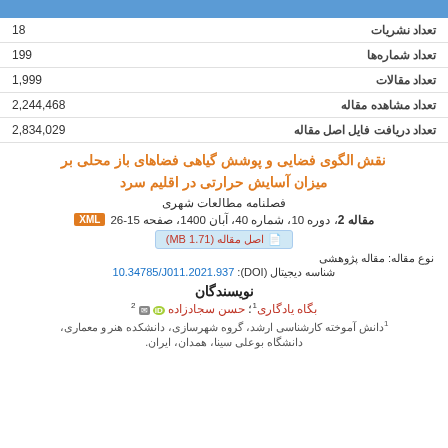| تعداد نشریات | 18 |
| --- | --- |
| تعداد شماره‌ها | 199 |
| تعداد مقالات | 1,999 |
| تعداد مشاهده مقاله | 2,244,468 |
| تعداد دریافت فایل اصل مقاله | 2,834,029 |
نقش الگوی فضایی و پوشش گیاهی فضاهای باز محلی بر میزان آسایش حرارتی در اقلیم سرد
فصلنامه مطالعات شهری
مقاله 2، دوره 10، شماره 40، آبان 1400، صفحه 15-26
نوع مقاله: مقاله پژوهشی
شناسه دیجیتال (DOI): 10.34785/J011.2021.937
نویسندگان
بگاه یادگاری1؛ حسن سجادزاده 2
1دانش آموخته کارشناسی ارشد، گروه شهرسازی، دانشکده هنر و معماری، دانشگاه بوعلی سینا، همدان، ایران.